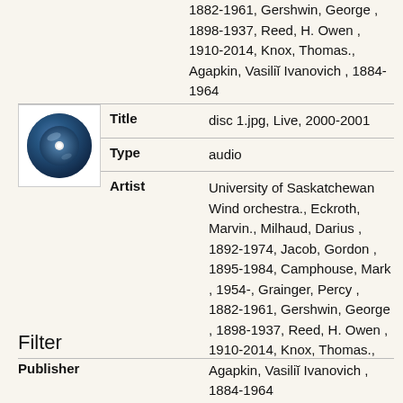1882-1961, Gershwin, George , 1898-1937, Reed, H. Owen , 1910-2014, Knox, Thomas., Agapkin, Vasilii Ivanovich , 1884-1964
| Field | Value |
| --- | --- |
| Title | disc 1.jpg, Live, 2000-2001 |
| Type | audio |
| Artist | University of Saskatchewan Wind orchestra., Eckroth, Marvin., Milhaud, Darius , 1892-1974, Jacob, Gordon , 1895-1984, Camphouse, Mark , 1954-, Grainger, Percy , 1882-1961, Gershwin, George , 1898-1937, Reed, H. Owen , 1910-2014, Knox, Thomas., Agapkin, Vasilii Ivanovich , 1884-1964 |
Filter
Publisher